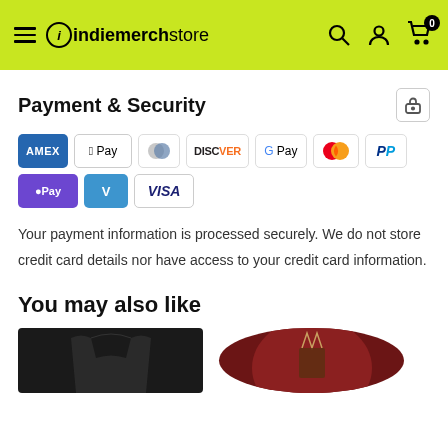indiemerchstore
Payment & Security
[Figure (infographic): Payment method icons: Amex, Apple Pay, Diners, Discover, Google Pay, Mastercard, PayPal, Shop Pay, Venmo, Visa]
Your payment information is processed securely. We do not store credit card details nor have access to your credit card information.
You may also like
[Figure (photo): Black t-shirt product thumbnail]
[Figure (photo): Album art circular image with warrior figure]